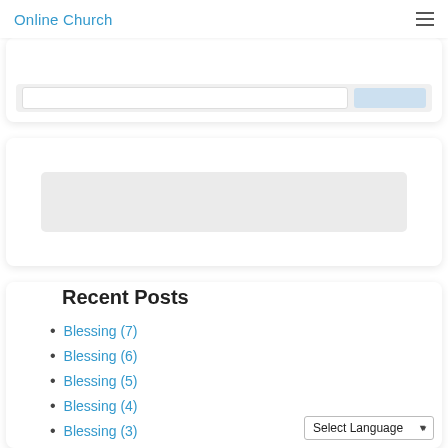Online Church
[Figure (screenshot): Partially visible card with input field and blue button]
[Figure (screenshot): Card with grey placeholder rectangle]
[Figure (illustration): Green circle with white chat bubble icon]
Recent Posts
Blessing (7)
Blessing (6)
Blessing (5)
Blessing (4)
Blessing (3)